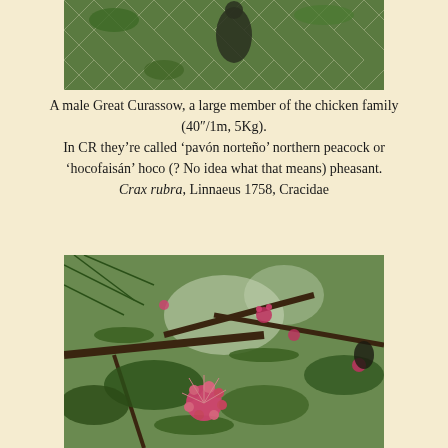[Figure (photo): A male Great Curassow bird behind a chain-link fence with green foliage in the background]
A male Great Curassow, a large member of the chicken family (40"/1m, 5Kg).
In CR they're called 'pavón norteño' northern peacock or 'hocofaisán' hoco (? No idea what that means) pheasant.
Crax rubra, Linnaeus 1758, Cracidae
[Figure (photo): Tropical trees and foliage with bright pink/red fluffy flowers (possibly Calliandra or similar), photographed looking upward through the canopy with palm fronds and branches visible]